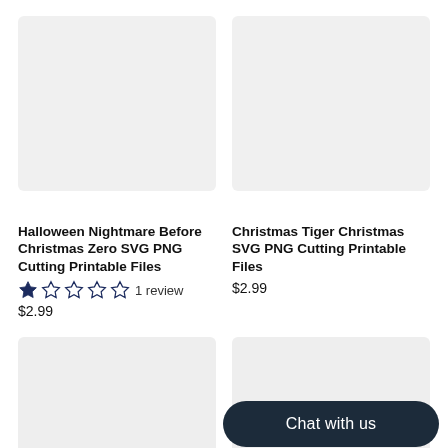[Figure (photo): Product image placeholder (light gray rectangle) for Halloween Nightmare Before Christmas Zero SVG]
[Figure (photo): Product image placeholder (light gray rectangle) for Christmas Tiger Christmas SVG]
Halloween Nightmare Before Christmas Zero SVG PNG Cutting Printable Files
★☆☆☆☆ 1 review
$2.99
Christmas Tiger Christmas SVG PNG Cutting Printable Files
$2.99
[Figure (photo): Product image placeholder (light gray rectangle), bottom left]
[Figure (screenshot): Product image placeholder (light gray rectangle) with a Chat with us button overlay, bottom right]